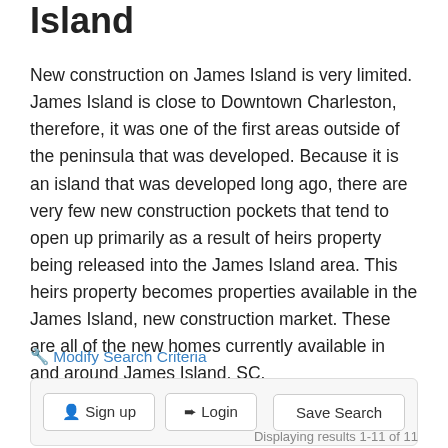Island
New construction on James Island is very limited. James Island is close to Downtown Charleston, therefore, it was one of the first areas outside of the peninsula that was developed. Because it is an island that was developed long ago, there are very few new construction pockets that tend to open up primarily as a result of heirs property being released into the James Island area. This heirs property becomes properties available in the James Island, new construction market. These are all of the new homes currently available in and around James Island, SC.
🔧 Modify Search Criteria
Sign up  Login  Save Search
Displaying results 1-11 of 11